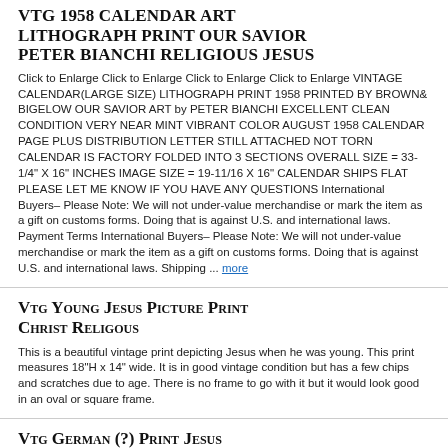VTG 1958 CALENDAR ART LITHOGRAPH PRINT OUR SAVIOR PETER BIANCHI RELIGIOUS JESUS
Click to Enlarge Click to Enlarge Click to Enlarge Click to Enlarge VINTAGE CALENDAR(LARGE SIZE) LITHOGRAPH PRINT 1958 PRINTED BY BROWN& BIGELOW OUR SAVIOR ART by PETER BIANCHI EXCELLENT CLEAN CONDITION VERY NEAR MINT VIBRANT COLOR AUGUST 1958 CALENDAR PAGE PLUS DISTRIBUTION LETTER STILL ATTACHED NOT TORN CALENDAR IS FACTORY FOLDED INTO 3 SECTIONS OVERALL SIZE = 33-1/4" X 16" INCHES IMAGE SIZE = 19-11/16 X 16" CALENDAR SHIPS FLAT PLEASE LET ME KNOW IF YOU HAVE ANY QUESTIONS International Buyers– Please Note: We will not under-value merchandise or mark the item as a gift on customs forms. Doing that is against U.S. and international laws. Payment Terms International Buyers– Please Note: We will not under-value merchandise or mark the item as a gift on customs forms. Doing that is against U.S. and international laws. Shipping ... more
VTG Young Jesus Picture Print Christ Religous
This is a beautiful vintage print depicting Jesus when he was young. This print measures 18"H x 14" wide. It is in good vintage condition but has a few chips and scratches due to age. There is no frame to go with it but it would look good in an oval or square frame.
Vtg German (?) Print Jesus
Vintage Framed with Glass Print of Jesus- I believe this is a German Print I don't speak German but I believe the words on the bottom of the